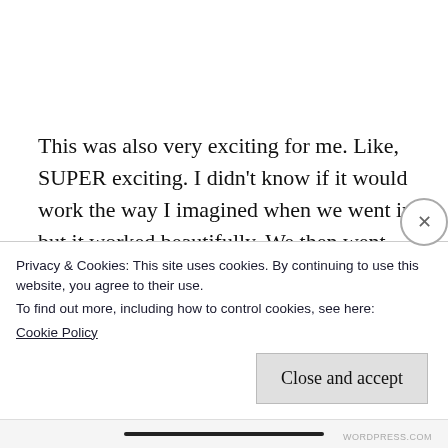This was also very exciting for me. Like, SUPER exciting. I didn't know if it would work the way I imagined when we went in, but it worked beautifully. We then went back inside and had some more discussion. We talked about what would happen to a slot in a material. Then I had
Privacy & Cookies: This site uses cookies. By continuing to use this website, you agree to their use.
To find out more, including how to control cookies, see here:
Cookie Policy
Close and accept